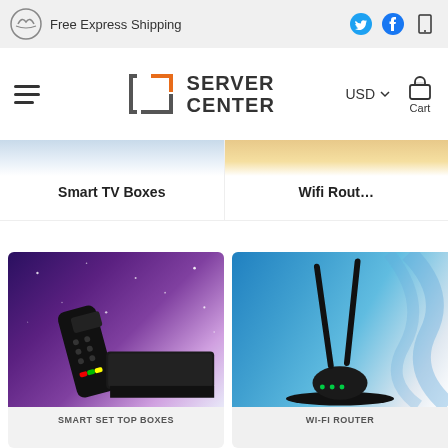Free Express Shipping
[Figure (logo): Server Center logo with bracket icon]
USD ▾
[Figure (illustration): Cart icon]
Cart
[Figure (illustration): Light blue banner image for Smart TV Boxes category]
Smart TV Boxes
[Figure (illustration): Sandy/orange banner image for Wifi Routers category]
Wifi Rout…
[Figure (photo): Smart set top box with remote control on purple starry background, labeled SMART SET TOP BOXES]
[Figure (photo): Wi-Fi router with two antennas on blue swirl background, labeled WI-FI ROUTER]